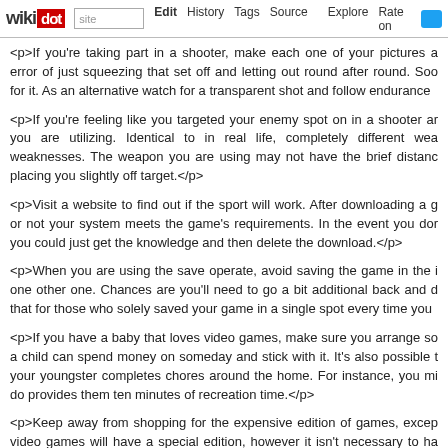wikidot | site Edit History Tags Source Explore Rate on [twitter]
<p>If you're taking part in a shooter, make each one of your pictures a error of just squeezing that set off and letting out round after round. Soo for it. As an alternative watch for a transparent shot and follow endurance
<p>If you're feeling like you targeted your enemy spot on in a shooter ar you are utilizing. Identical to in real life, completely different wea weaknesses. The weapon you are using may not have the brief distanc placing you slightly off target.</p>
<p>Visit a website to find out if the sport will work. After downloading a g or not your system meets the game's requirements. In the event you dor you could just get the knowledge and then delete the download.</p>
<p>When you are using the save operate, avoid saving the game in the one other one. Chances are you'll need to go a bit additional back and d that for those who solely saved your game in a single spot every time you
<p>If you have a baby that loves video games, make sure you arrange sc a child can spend money on someday and stick with it. It's also possible t your youngster completes chores around the home. For instance, you mi do provides them ten minutes of recreation time.</p>
<p>Keep away from shopping for the expensive edition of games, excep video games will have a special edition, however it isn't necessary to ha buying Defeat The Video Games With The following pointers can sa nonetheless take pleasure in it.</p>
<p>Sometimes a game will come out and then a bunch of downloadable